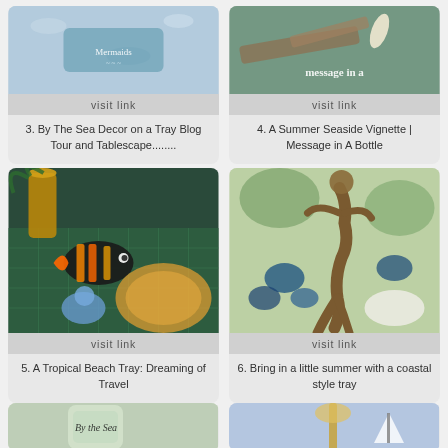[Figure (photo): Mermaid-themed decor on a tray with blue starfish pattern fabric]
visit link
3. By The Sea Decor on a Tray Blog Tour and Tablescape........
[Figure (photo): Message in a bottle seaside vignette with driftwood and rolled paper]
visit link
4. A Summer Seaside Vignette | Message in A Bottle
[Figure (photo): Tropical beach tray with colorful fish figurines, tiki mug, and round plate]
visit link
5. A Tropical Beach Tray: Dreaming of Travel
[Figure (photo): Coastal style tray with mermaid figurine and blue glass pieces]
visit link
6. Bring in a little summer with a coastal style tray
[Figure (photo): By the Sea mason jar with script lettering (partial, bottom of page)]
[Figure (photo): Coastal lamp and sailboat decor (partial, bottom of page)]